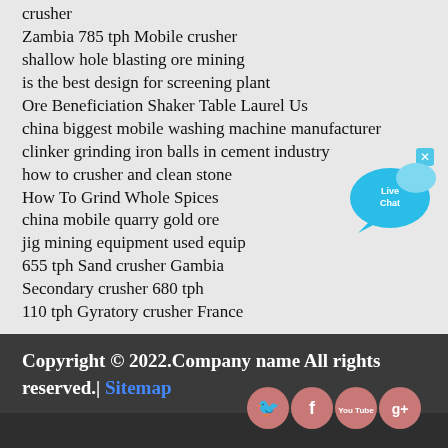crusher
Zambia 785 tph Mobile crusher
shallow hole blasting ore mining
is the best design for screening plant
Ore Beneficiation Shaker Table Laurel Us
china biggest mobile washing machine manufacturer
clinker grinding iron balls in cement industry
how to crusher and clean stone
How To Grind Whole Spices
china mobile quarry gold ore
jig mining equipment used equip
655 tph Sand crusher Gambia
Secondary crusher 680 tph
110 tph Gyratory crusher France
[Figure (illustration): Live Chat bubble icon in cyan/blue color with 'x' close button]
Copyright © 2022.Company name All rights reserved.| Sitemap
[Figure (illustration): Social media icons: Twitter, Facebook, YouTube, Google+ in pink/rose circular buttons]